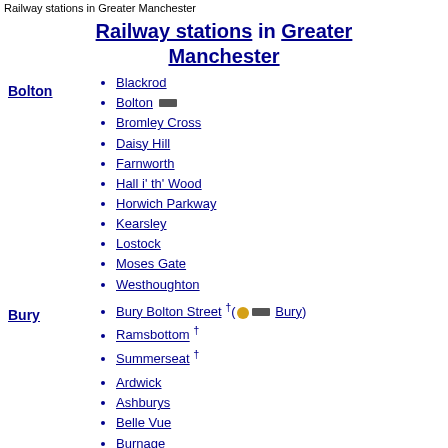Railway stations in Greater Manchester
Railway stations in Greater Manchester
Bolton
Blackrod
Bolton
Bromley Cross
Daisy Hill
Farnworth
Hall i' th' Wood
Horwich Parkway
Kearsley
Lostock
Moses Gate
Westhoughton
Bury
Bury Bolton Street † (Bury)
Ramsbottom †
Summerseat †
Ardwick
Ashburys
Belle Vue
Burnage
Deansgate (Deansgate-Castlefield)